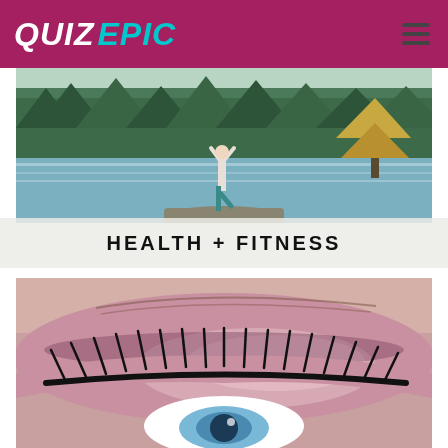QUIZ EPIC
[Figure (photo): A woman doing a yoga tree pose on a rock by a scenic mountain lake, surrounded by evergreen forest, viewed from behind. Below the photo is a faded scenic reflection with text 'HEALTH + FITNESS'.]
HEALTH + FITNESS
[Figure (photo): Extreme close-up of a woman's eye with dramatic long eyelashes and shimmery rose/mauve eyeshadow, showing a blue iris.]